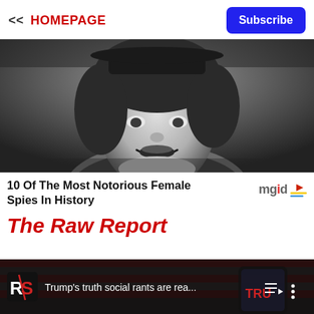<< HOMEPAGE
Subscribe
[Figure (photo): Black and white portrait photo of a young woman smiling, wearing a military-style cap and uniform jacket]
10 Of The Most Notorious Female Spies In History
[Figure (logo): mgid logo with play button icon]
The Raw Report
[Figure (screenshot): Video bar overlay showing RS logo and text 'Trump's truth social rants are rea...' with playlist and more icons, over a blurred American flag background with a phone showing TRU...]